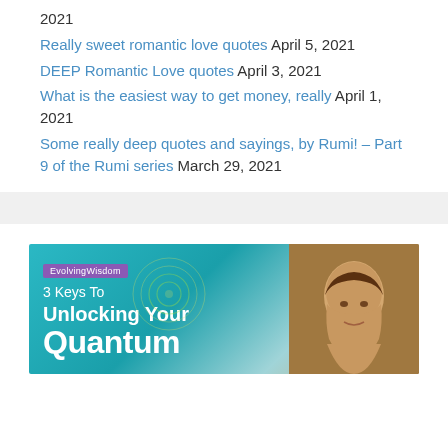2021
Really sweet romantic love quotes April 5, 2021
DEEP Romantic Love quotes April 3, 2021
What is the easiest way to get money, really April 1, 2021
Some really deep quotes and sayings, by Rumi! – Part 9 of the Rumi series March 29, 2021
[Figure (illustration): EvolvingWisdom banner ad with teal/aqua gradient background, spiral design on left, text '3 Keys To Unlocking Your Quantum' in white, and a woman's photo on the right side]